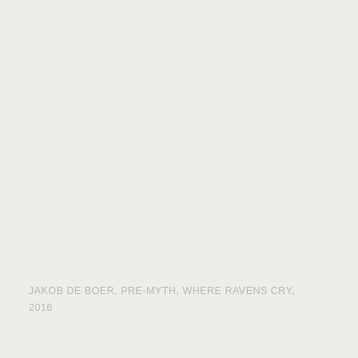JAKOB DE BOER, PRE-MYTH, WHERE RAVENS CRY, 2016